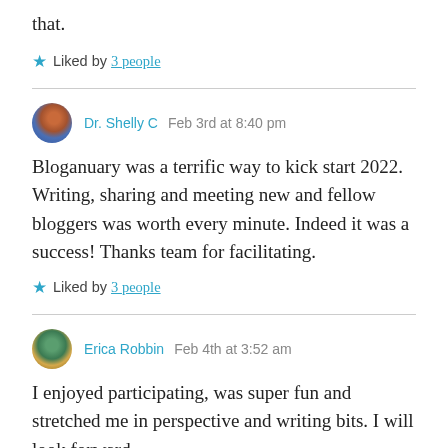that.
★ Liked by 3 people
Dr. Shelly C   Feb 3rd at 8:40 pm
Bloganuary was a terrific way to kick start 2022. Writing, sharing and meeting new and fellow bloggers was worth every minute. Indeed it was a success! Thanks team for facilitating.
★ Liked by 3 people
Erica Robbin   Feb 4th at 3:52 am
I enjoyed participating, was super fun and stretched me in perspective and writing bits. I will look forward